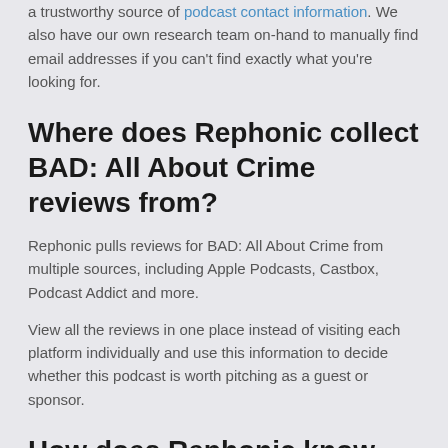a trustworthy source of podcast contact information. We also have our own research team on-hand to manually find email addresses if you can't find exactly what you're looking for.
Where does Rephonic collect BAD: All About Crime reviews from?
Rephonic pulls reviews for BAD: All About Crime from multiple sources, including Apple Podcasts, Castbox, Podcast Addict and more.
View all the reviews in one place instead of visiting each platform individually and use this information to decide whether this podcast is worth pitching as a guest or sponsor.
How does Rephonic know which podcasts are like BAD: All About Crime?
You can view podcasts similar to BAD: All About Crime by exploring